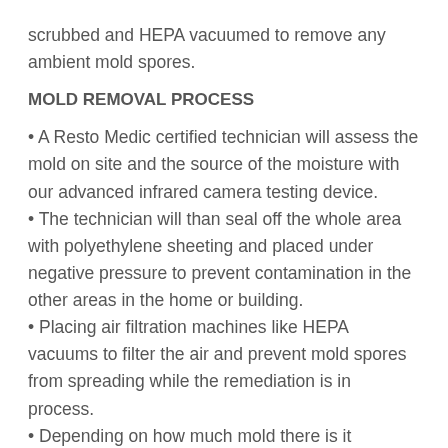scrubbed and HEPA vacuumed to remove any ambient mold spores.
MOLD REMOVAL PROCESS
• A Resto Medic certified technician will assess the mold on site and the source of the moisture with our advanced infrared camera testing device.
• The technician will than seal off the whole area with polyethylene sheeting and placed under negative pressure to prevent contamination in the other areas in the home or building.
• Placing air filtration machines like HEPA vacuums to filter the air and prevent mold spores from spreading while the remediation is in process.
• Depending on how much mold there is it sometimes